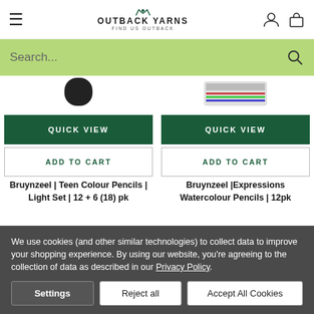Outback Yarns | Find Us Outback
Search...
QUICK VIEW
ADD TO CART
Bruynzeel | Teen Colour Pencils | Light Set | 12 + 6 (18) pk
QUICK VIEW
ADD TO CART
Bruynzeel |Expressions Watercolour Pencils | 12pk
We use cookies (and other similar technologies) to collect data to improve your shopping experience. By using our website, you're agreeing to the collection of data as described in our Privacy Policy.
Settings
Reject all
Accept All Cookies